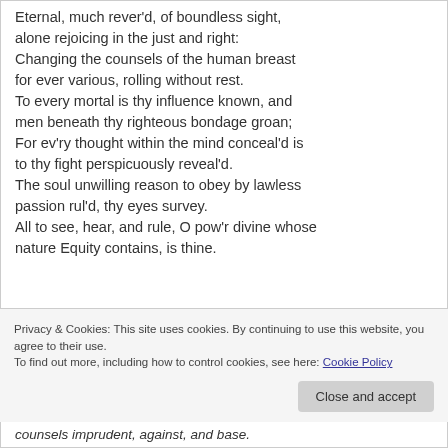Eternal, much rever'd, of boundless sight, alone rejoicing in the just and right: Changing the counsels of the human breast for ever various, rolling without rest. To every mortal is thy influence known, and men beneath thy righteous bondage groan; For ev'ry thought within the mind conceal'd is to thy fight perspicuously reveal'd. The soul unwilling reason to obey by lawless passion rul'd, thy eyes survey. All to see, hear, and rule, O pow'r divine whose nature Equity contains, is thine.
Privacy & Cookies: This site uses cookies. By continuing to use this website, you agree to their use. To find out more, including how to control cookies, see here: Cookie Policy
Close and accept
counsels imprudent, against, and base.